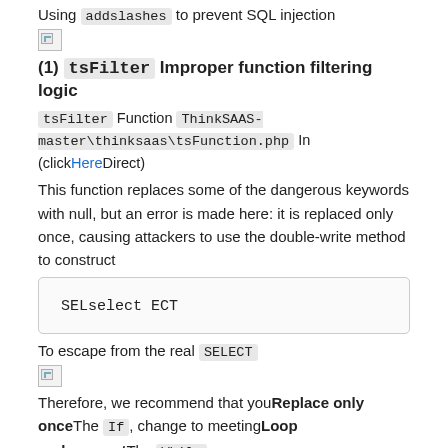Using addslashes to prevent SQL injection
[Figure (other): Broken image placeholder]
(1) tsFilter Improper function filtering logic
tsFilter Function ThinkSAAS-master\thinksaas\tsFunction.php In (clickHereDirect)
This function replaces some of the dangerous keywords with null, but an error is made here: it is replaced only once, causing attackers to use the double-write method to construct
SELselect ECT
To escape from the real SELECT
[Figure (other): Broken image placeholder]
Therefore, we recommend that you Replace only once The If, change to meeting Loop replacement The While
[Figure (other): Broken image placeholder]